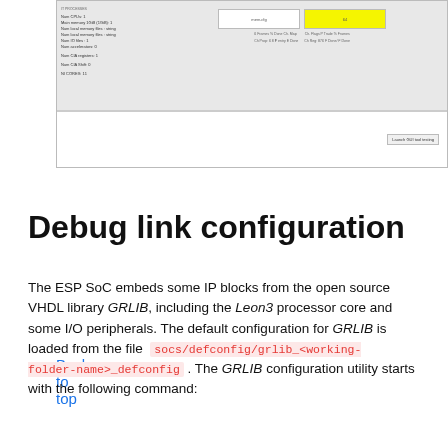[Figure (screenshot): Screenshot of a software configuration UI showing system properties on the left and a form with a white input field and a yellow highlighted field on the right, with a bottom panel containing a button.]
Back to top
Debug link configuration
The ESP SoC embeds some IP blocks from the open source VHDL library GRLIB, including the Leon3 processor core and some I/O peripherals. The default configuration for GRLIB is loaded from the file socs/defconfig/grlib_<working-folder-name>_defconfig . The GRLIB configuration utility starts with the following command: